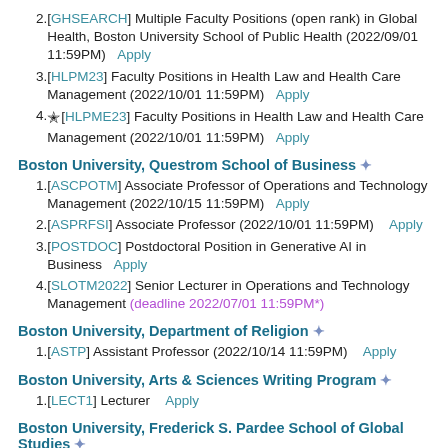2. [GHSEARCH] Multiple Faculty Positions (open rank) in Global Health, Boston University School of Public Health (2022/09/01 11:59PM)  Apply
3. [HLPM23] Faculty Positions in Health Law and Health Care Management (2022/10/01 11:59PM)  Apply
4. ★[HLPME23] Faculty Positions in Health Law and Health Care Management (2022/10/01 11:59PM)  Apply
Boston University, Questrom School of Business ❋
1. [ASCPOTM] Associate Professor of Operations and Technology Management (2022/10/15 11:59PM)  Apply
2. [ASPRFSI] Associate Professor (2022/10/01 11:59PM)  Apply
3. [POSTDOC] Postdoctoral Position in Generative AI in Business  Apply
4. [SLOTM2022] Senior Lecturer in Operations and Technology Management (deadline 2022/07/01 11:59PM*)
Boston University, Department of Religion ❋
1. [ASTP] Assistant Professor (2022/10/14 11:59PM)  Apply
Boston University, Arts & Sciences Writing Program ❋
1. [LECT1] Lecturer  Apply
Boston University, Frederick S. Pardee School of Global Studies ❋